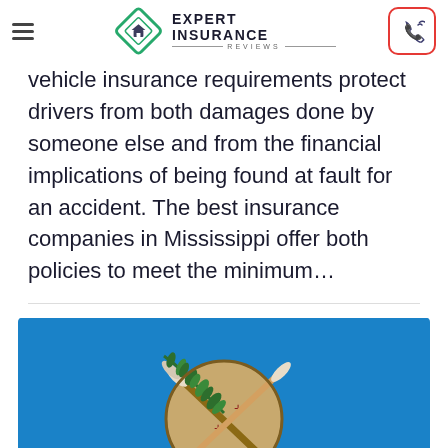EXPERT INSURANCE REVIEWS
vehicle insurance requirements protect drivers from both damages done by someone else and from the financial implications of being found at fault for an accident. The best insurance companies in Mississippi offer both policies to meet the minimum...
[Figure (photo): Oklahoma state flag on blue background showing a Native American shield with crossed arrows and an olive branch]